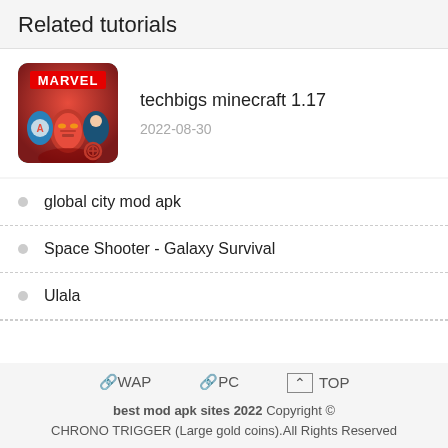Related tutorials
[Figure (illustration): Marvel Contest of Champions app icon showing Iron Man, Captain America, and other Marvel heroes with the MARVEL logo on a red background]
techbigs minecraft 1.17
2022-08-30
global city mod apk
Space Shooter - Galaxy Survival
Ulala
🔗WAP  🔗PC  ⌃TOP
best mod apk sites 2022 Copyright ©
CHRONO TRIGGER (Large gold coins).All Rights Reserved